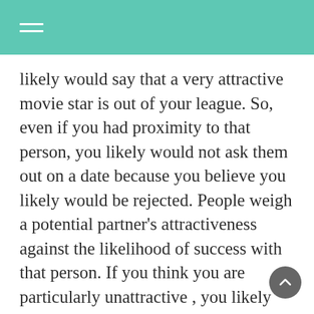likely would say that a very attractive movie star is out of your league. So, even if you had proximity to that person, you likely would not ask them out on a date because you believe you likely would be rejected. People weigh a potential partner's attractiveness against the likelihood of success with that person. If you think you are particularly unattractive , you likely will seek partners that are fairly unattractive . As demonstrated in the examples above, the fundamental attribution error is considered a powerful influence in how we explain the behaviors of others.